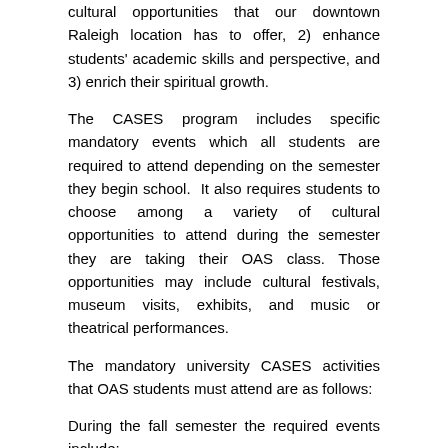cultural opportunities that our downtown Raleigh location has to offer, 2) enhance students' academic skills and perspective, and 3) enrich their spiritual growth.
The CASES program includes specific mandatory events which all students are required to attend depending on the semester they begin school. It also requires students to choose among a variety of cultural opportunities to attend during the semester they are taking their OAS class. Those opportunities may include cultural festivals, museum visits, exhibits, and music or theatrical performances.
The mandatory university CASES activities that OAS students must attend are as follows:
During the fall semester the required events include:
Opening School Fall Convocation in September
The Bessie Boyd Holman Lecture Series in Ethics and Values in October, and